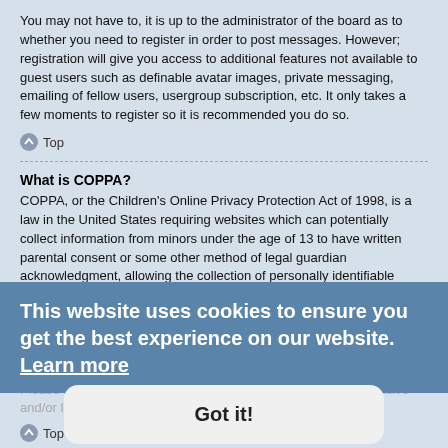You may not have to, it is up to the administrator of the board as to whether you need to register in order to post messages. However; registration will give you access to additional features not available to guest users such as definable avatar images, private messaging, emailing of fellow users, usergroup subscription, etc. It only takes a few moments to register so it is recommended you do so.
Top
What is COPPA?
COPPA, or the Children's Online Privacy Protection Act of 1998, is a law in the United States requiring websites which can potentially collect information from minors under the age of 13 to have written parental consent or some other method of legal guardian acknowledgment, allowing the collection of personally identifiable information from a minor under the age of 13. If you are unsure if this applies to you as someone trying to register or to the website you are trying to register on, contact legal counsel for assistance. Please note that phpBB Limited and the owners of this board cannot provide legal advice and is not a point of contact for legal opinions of any kind. Please refer to the FAQ section on "Who do I contact about abusive and/or legal matters related to this board?".
Top
Why can't I register?
It is possible a board administrator has disabled registration to prevent new visitors from signing up. A board administrator could have also banned your IP
This website uses cookies to ensure you get the best experience on our website. Learn more
Got it!